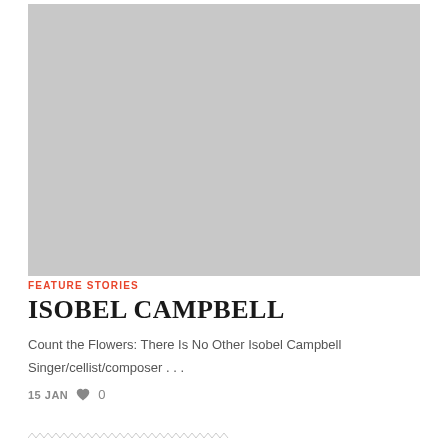[Figure (photo): Large gray placeholder image for feature story about Isobel Campbell]
FEATURE STORIES
ISOBEL CAMPBELL
Count the Flowers: There Is No Other Isobel Campbell
Singer/cellist/composer . . .
15 JAN  ♥ 0